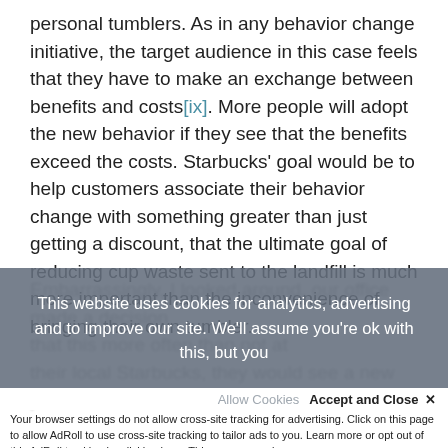personal tumblers. As in any behavior change initiative, the target audience in this case feels that they have to make an exchange between benefits and costs[ix]. More people will adopt the new behavior if they see that the benefits exceed the costs. Starbucks' goal would be to help customers associate their behavior change with something greater than just getting a discount, that the ultimate goal of reducing cup waste sent to the landfill is much more important than the inconvenience of bringing their own tumbler.
[Figure (screenshot): Cookie consent overlay on a webpage reading: 'This website uses cookies for analytics, advertising and to improve our site. We'll assume you're ok with this, but you' with an 'Accept and Close x' button and an AdRoll cross-site tracking notice at the bottom.]